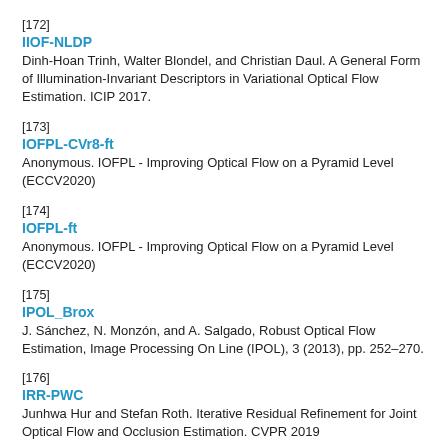[172]
IIOF-NLDP
Dinh-Hoan Trinh, Walter Blondel, and Christian Daul. A General Form of Illumination-Invariant Descriptors in Variational Optical Flow Estimation. ICIP 2017.
[173]
IOFPL-CVr8-ft
Anonymous. IOFPL - Improving Optical Flow on a Pyramid Level (ECCV2020)
[174]
IOFPL-ft
Anonymous. IOFPL - Improving Optical Flow on a Pyramid Level (ECCV2020)
[175]
IPOL_Brox
J. Sánchez, N. Monzón, and A. Salgado, Robust Optical Flow Estimation, Image Processing On Line (IPOL), 3 (2013), pp. 252–270.
[176]
IRR-PWC
Junhwa Hur and Stefan Roth. Iterative Residual Refinement for Joint Optical Flow and Occlusion Estimation. CVPR 2019